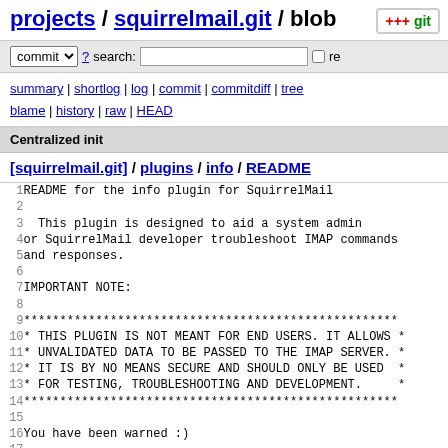projects / squirrelmail.git / blob
commit ? search: re
summary | shortlog | log | commit | commitdiff | tree blame | history | raw | HEAD
Centralized init
[squirrelmail.git] / plugins / info / README
1  README for the info plugin for SquirrelMail
2
3    This plugin is designed to aid a system admin
4  or SquirrelMail developer troubleshoot IMAP commands
5  and responses.
6
7  IMPORTANT NOTE:
8
9  ****************************************************
10 * THIS PLUGIN IS NOT MEANT FOR END USERS. IT ALLOWS *
11 * UNVALIDATED DATA TO BE PASSED TO THE IMAP SERVER. *
12 * IT IS BY NO MEANS SECURE AND SHOULD ONLY BE USED  *
13 * FOR TESTING, TROUBLESHOOTING AND DEVELOPMENT.     *
14 ****************************************************
15
16 You have been warned :)
17
18 Ok, now to the good stuff. Enable this plugin as you wo
19 Its called 'info'. You will then have an "IMAP server i